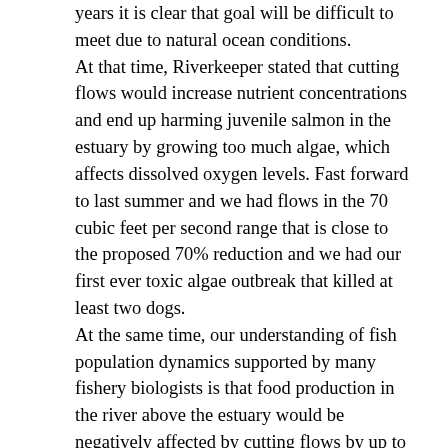years it is clear that goal will be difficult to meet due to natural ocean conditions. At that time, Riverkeeper stated that cutting flows would increase nutrient concentrations and end up harming juvenile salmon in the estuary by growing too much algae, which affects dissolved oxygen levels. Fast forward to last summer and we had flows in the 70 cubic feet per second range that is close to the proposed 70% reduction and we had our first ever toxic algae outbreak that killed at least two dogs. At the same time, our understanding of fish population dynamics supported by many fishery biologists is that food production in the river above the estuary would be negatively affected by cutting flows by up to 70%. The Draft EIR was released from the Sonoma County Water Agency in mid-August. [Read the EIR here. - strikethrough] Russian Riverkeeper is concerned with likely water quality problems if flows are allowed to stay below 100cfs throughout the summer months. One of our goals is to ensure water saved from reduced flows is not put up for sale but reserved to mitigate potential water quality